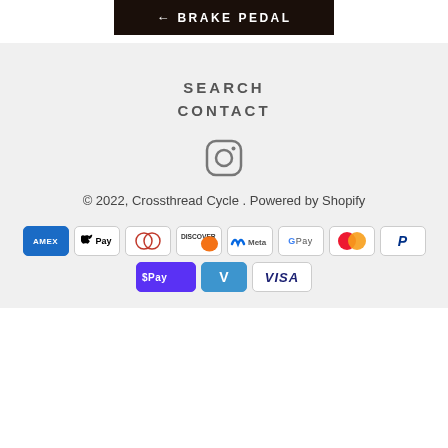← BRAKE PEDAL
SEARCH
CONTACT
[Figure (logo): Instagram icon (rounded square outline with circle and dot)]
© 2022, Crossthread Cycle . Powered by Shopify
[Figure (infographic): Payment method icons: American Express, Apple Pay, Diners Club, Discover, Meta Pay, Google Pay, Mastercard, PayPal, Shop Pay, Venmo, Visa]